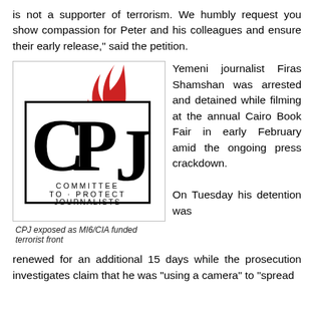is not a supporter of terrorism. We humbly request you show compassion for Peter and his colleagues and ensure their early release," said the petition.
[Figure (logo): CPJ (Committee to Protect Journalists) logo with red flame above the letters CPJ and the full name spelled out below]
CPJ exposed as MI6/CIA funded terrorist front
Yemeni journalist Firas Shamshan was arrested and detained while filming at the annual Cairo Book Fair in early February amid the ongoing press crackdown.
On Tuesday his detention was renewed for an additional 15 days while the prosecution investigates claim that he was "using a camera" to "spread